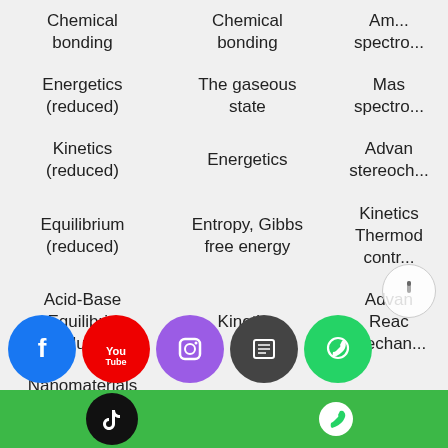| Column 1 | Column 2 | Column 3 (truncated) |
| --- | --- | --- |
| Chemical bonding | Chemical bonding | Am... spectro... |
| Energetics (reduced) | The gaseous state | Mas spectro... |
| Kinetics (reduced) | Energetics | Advan stereoch... |
| Equilibrium (reduced) | Entropy, Gibbs free energy | Kinetics Thermod contr... |
| Acid-Base Equilibria (reduced) | Kinetics | Advan Reac Mechan... |
| Nanomaterials (totally different from that of H2) | Equilibrium |  |
| ...duction to organic... | Acid-Base Equilibria... |  |
[Figure (infographic): Social media icon bar: Facebook, YouTube, Instagram, News, WhatsApp icons]
[Figure (infographic): Green footer bar with TikTok and WhatsApp icons]